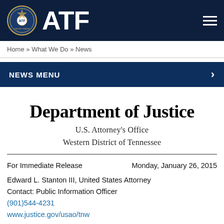ATF
Home » What We Do » News
NEWS MENU
Department of Justice
U.S. Attorney's Office
Western District of Tennessee
For Immediate Release	Monday, January 26, 2015
Edward L. Stanton III, United States Attorney
Contact: Public Information Officer
(901)544-4231
www.justice.gov/usao/tnw
13 Suspects Indicted in West Tennessee on